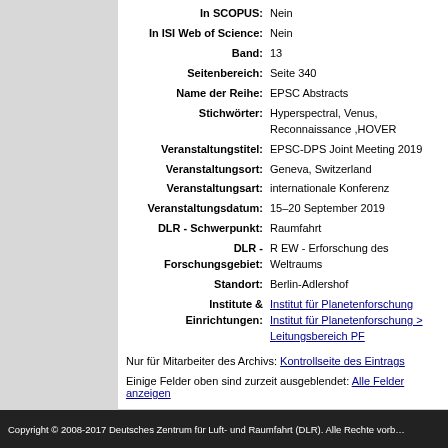| Field | Value |
| --- | --- |
| In SCOPUS: | Nein |
| In ISI Web of Science: | Nein |
| Band: | 13 |
| Seitenbereich: | Seite 340 |
| Name der Reihe: | EPSC Abstracts |
| Stichwörter: | Hyperspectral, Venus, Reconnaissance ,HOVER |
| Veranstaltungstitel: | EPSC-DPS Joint Meeting 2019 |
| Veranstaltungsort: | Geneva, Switzerland |
| Veranstaltungsart: | internationale Konferenz |
| Veranstaltungsdatum: | 15–20 September 2019 |
| DLR - Schwerpunkt: | Raumfahrt |
| DLR - Forschungsgebiet: | R EW - Erforschung des Weltraums |
| Standort: | Berlin-Adlershof |
| Institute & Einrichtungen: | Institut für Planetenforschung
Institut für Planetenforschung > Leitungsbereich PF |
Nur für Mitarbeiter des Archivs: Kontrollseite des Eintrags
Einige Felder oben sind zurzeit ausgeblendet: Alle Felder anzeigen
electronic library verwendet EPrints 3.3.12
Copyright © 2008-2017 Deutsches Zentrum für Luft- und Raumfahrt (DLR). Alle Rechte vorbehalten.